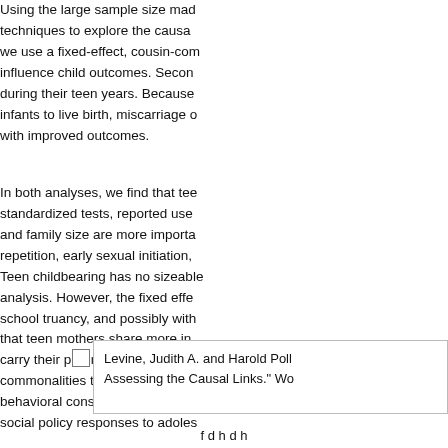Using the large sample size made techniques to explore the causal we use a fixed-effect, cousin-com influence child outcomes. Secon during their teen years. Because infants to live birth, miscarriage o with improved outcomes.
In both analyses, we find that tee standardized tests, reported use and family size are more importa repetition, early sexual initiation, Teen childbearing has no sizeable analysis. However, the fixed effe school truancy, and possibly with that teen mothers share more in carry their pregnancies to term th commonalities that appear to dri behavioral consequences for off-s social policy responses to adoles
Levine, Judith A. and Harold Poll Assessing the Causal Links." Wo
f d h d h